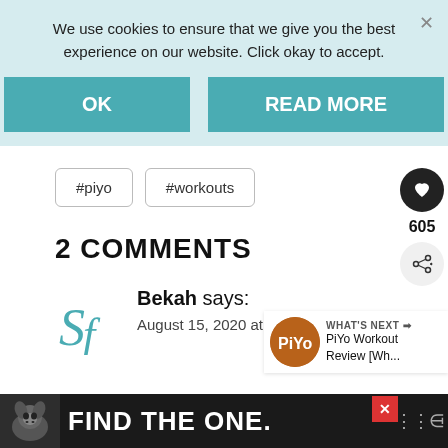We use cookies to ensure that we give you the best experience on our website. Click okay to accept.
OK
READ MORE
#piyo
#workouts
2 COMMENTS
Bekah says:
August 15, 2020 at 3:13 pm
WHAT'S NEXT → PiYo Workout Review [Wh...
FIND THE ONE.